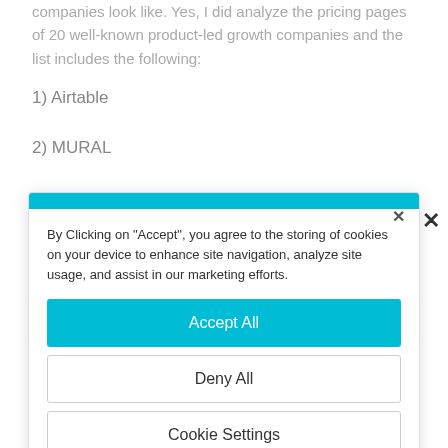companies look like. Yes, I did analyze the pricing pages of 20 well-known product-led growth companies and the list includes the following:
1) Airtable
2) MURAL
[Figure (screenshot): Cookie consent dialog with teal top bar, close X button, cookie policy text, Accept All button, Deny All button, Cookie Settings button]
By Clicking on "Accept", you agree to the storing of cookies on your device to enhance site navigation, analyze site usage, and assist in our marketing efforts.